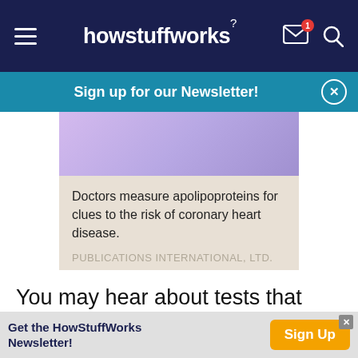howstuffworks
Sign up for our Newsletter!
[Figure (photo): Purple/lavender colored image (medical illustration or human tissue)]
Doctors measure apolipoproteins for clues to the risk of coronary heart disease. PUBLICATIONS INTERNATIONAL, LTD.
You may hear about tests that measure apolipoproteins, which are the specific types of proteins that your HDLs and LDLs contain. They are
Get the HowStuffWorks Newsletter! Sign Up